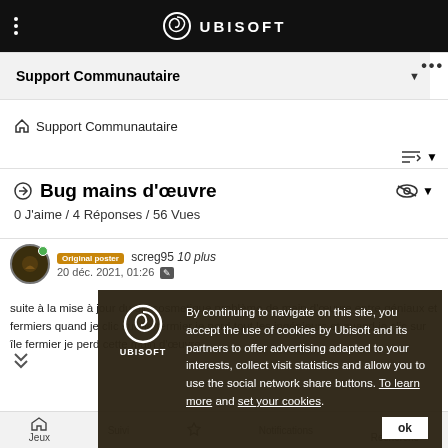UBISOFT
Support Communautaire
Support Communautaire
Bug mains d'œuvre
0 J'aime / 4 Réponses / 56 Vues
Original poster screg95 10 plus
20 déc. 2021, 01:26
suite à la mise à jour du dlc cosmetique problème de main d'œuvre entre géniaux et fermiers quand je clic sur île fermier je perd tout les ingénieurs et quand je clic sur île fermier je perd cette main d'œuvre
[Figure (logo): Ubisoft logo with swirl and UBISOFT text]
By continuing to navigate on this site, you accept the use of cookies by Ubisoft and its partners to offer advertising adapted to your interests, collect visit statistics and allow you to use the social network share buttons. To learn more and set your cookies.
Jeux  Suivi  Notifications  Recherche